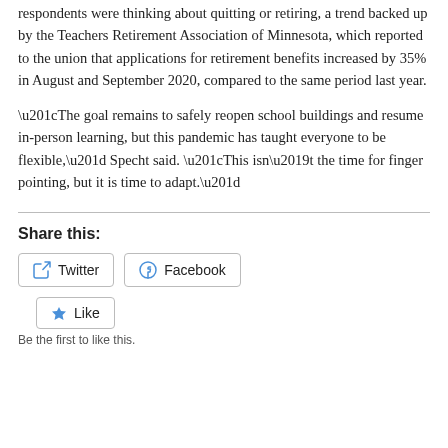respondents were thinking about quitting or retiring, a trend backed up by the Teachers Retirement Association of Minnesota, which reported to the union that applications for retirement benefits increased by 35% in August and September 2020, compared to the same period last year.
“The goal remains to safely reopen school buildings and resume in-person learning, but this pandemic has taught everyone to be flexible,” Specht said. “This isn’t the time for finger pointing, but it is time to adapt.”
Share this:
Twitter  Facebook
Like
Be the first to like this.